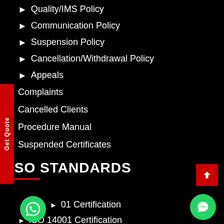▶ Quality/IMS Policy
▶ Communication Policy
▶ Suspension Policy
▶ Cancellation/Withdrawal Policy
▶ Appeals
▶ Complaints
▶ Cancelled Clients
▶ Procedure Manual
▶ Suspended Certificates
ISO STANDARDS
▶ 01 Certification
▶ ISO 14001 Certification